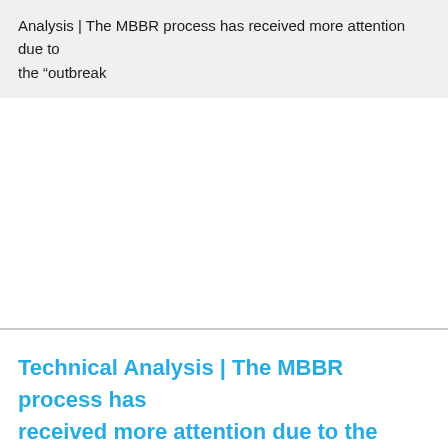Analysis | The MBBR process has received more attention due to the “outbreak
Technical Analysis | The MBBR process has received more attention due to the “outbreak